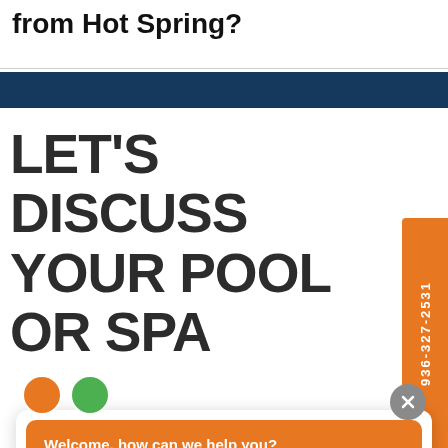from Hot Spring?
[Figure (screenshot): Website screenshot showing a dark navigation bar, large bold heading 'LET'S DISCUSS YOUR POOL OR SPA', an orange vertical tab on the right reading '936-327-2531', and a chat widget popup at the bottom with an orange bubble saying 'Welcome, how can we help you?' and a message input field.]